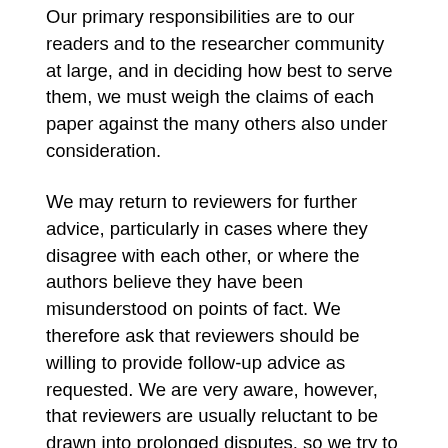Our primary responsibilities are to our readers and to the researcher community at large, and in deciding how best to serve them, we must weigh the claims of each paper against the many others also under consideration.
We may return to reviewers for further advice, particularly in cases where they disagree with each other, or where the authors believe they have been misunderstood on points of fact. We therefore ask that reviewers should be willing to provide follow-up advice as requested. We are very aware, however, that reviewers are usually reluctant to be drawn into prolonged disputes, so we try to keep consultation to the minimum we judge necessary to provide a fair hearing for the authors.
When reviewers agree to assess a paper, we consider this a commitment to review subsequent revisions (Guideline can be found here) . However, editors will not send a resubmitted paper back to the reviewers if it seems that the authors have not made a serious attempt to address the criticisms.